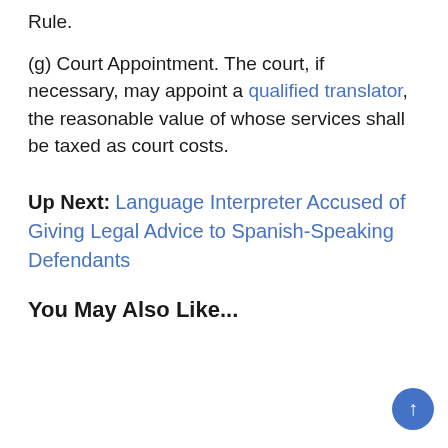Rule.
(g) Court Appointment. The court, if necessary, may appoint a qualified translator, the reasonable value of whose services shall be taxed as court costs.
Up Next: Language Interpreter Accused of Giving Legal Advice to Spanish-Speaking Defendants
You May Also Like...